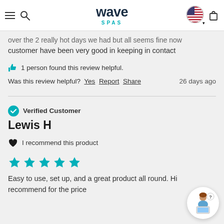Wave Spas navigation bar with hamburger menu, search, logo, US flag selector, and cart icon
over the 2 really hot days we had but all seems fine now customer have been very good in keeping in contact
👍 1 person found this review helpful.
Was this review helpful? Yes Report Share   26 days ago
✔ Verified Customer
Lewis H
♥ I recommend this product
★★★★★
Easy to use, set up, and a great product all round. Highly recommend for the price